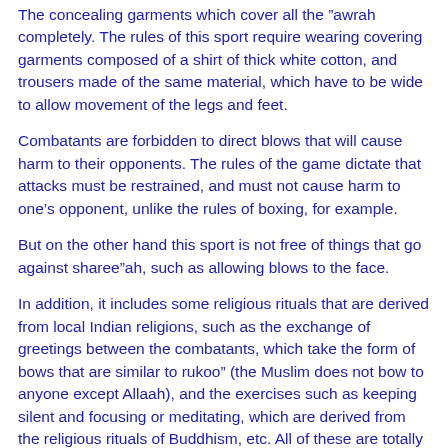The concealing garments which cover all the awrah completely. The rules of this sport require wearing covering garments composed of a shirt of thick white cotton, and trousers made of the same material, which have to be wide to allow movement of the legs and feet.
Combatants are forbidden to direct blows that will cause harm to their opponents. The rules of the game dictate that attacks must be restrained, and must not cause harm to one’s opponent, unlike the rules of boxing, for example.
But on the other hand this sport is not free of things that go against shareeah, such as allowing blows to the face.
In addition, it includes some religious rituals that are derived from local Indian religions, such as the exchange of greetings between the combatants, which take the form of bows that are similar to rukoo (the Muslim does not bow to anyone except Allaah), and the exercises such as keeping silent and focusing or meditating, which are derived from the religious rituals of Buddhism, etc. All of these are totally rejected by Islam.
But it is not forbidden to practise this sport once these issues have been eliminated. It is possible to eliminate them on an unofficial level, even if it is not possible to do so on an official and international